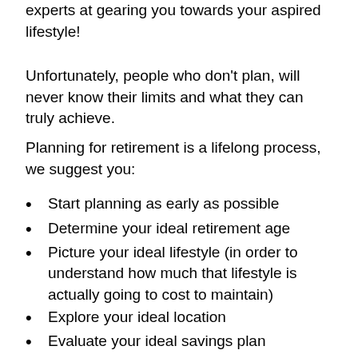experts at gearing you towards your aspired lifestyle!
Unfortunately, people who don't plan, will never know their limits and what they can truly achieve.
Planning for retirement is a lifelong process, we suggest you:
Start planning as early as possible
Determine your ideal retirement age
Picture your ideal lifestyle (in order to understand how much that lifestyle is actually going to cost to maintain)
Explore your ideal location
Evaluate your ideal savings plan
Adjust your necessary finances to make your dream retirement a reality